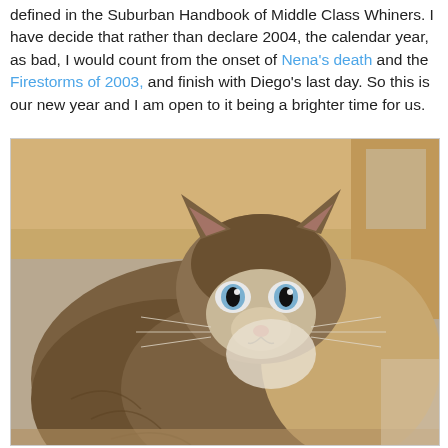defined in the Suburban Handbook of Middle Class Whiners. I have decide that rather than declare 2004, the calendar year, as bad, I would count from the onset of Nena's death and the Firestorms of 2003, and finish with Diego's last day. So this is our new year and I am open to it being a brighter time for us.
[Figure (photo): A fluffy tabby cat with striking eyes sitting/lying in a cardboard box, looking upward at the camera. The cat has long brown/gray fur and white chest fur.]